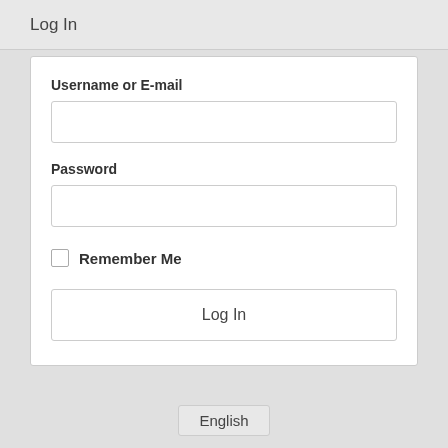Log In
Username or E-mail
Password
Remember Me
Log In
English